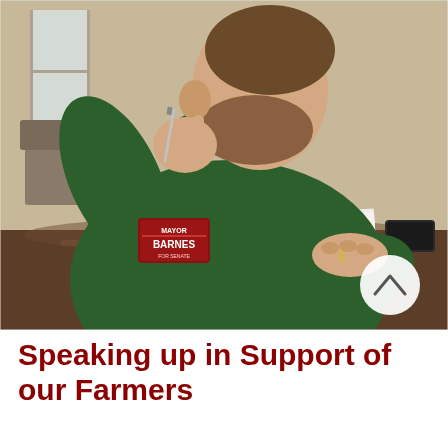[Figure (photo): A man wearing a dark green shirt with a 'Barnes' campaign name badge sits at a brown wooden table in a meeting room. He has a beard and is holding a pen near his chin in a thoughtful pose. Papers are on the table in front of him. There is a white circular scroll-up button in the lower right of the photo.]
Speaking up in Support of our Farmers